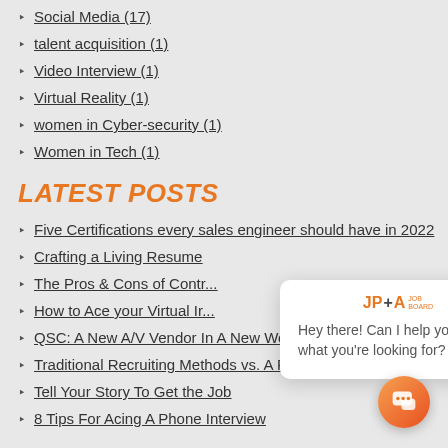Social Media (17)
talent acquisition (1)
Video Interview (1)
Virtual Reality (1)
women in Cyber-security (1)
Women in Tech (1)
LATEST POSTS
Five  Certifications every sales engineer should have in 2022
Crafting a Living Resume
The Pros & Cons of Contr...
How to Ace your Virtual Ir...
QSC: A New A/V Vendor In A New World
Traditional Recruiting Methods vs. A Recruiting Firm
Tell Your Story To Get the Job
8 Tips For Acing A Phone Interview
[Figure (screenshot): Chat popup overlay with JP+A logo and message 'Hey there! Can I help you find what you're looking for?' with a close button, and an orange chat launcher button in the bottom right corner.]